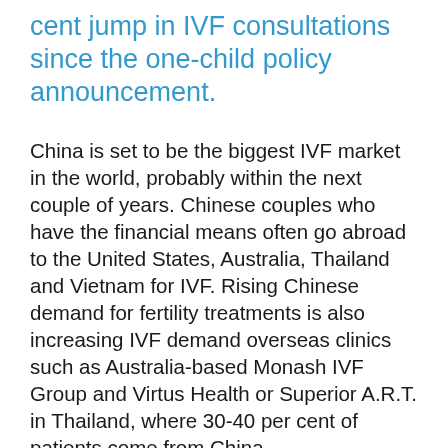cent jump in IVF consultations since the one-child policy announcement.
China is set to be the biggest IVF market in the world, probably within the next couple of years. Chinese couples who have the financial means often go abroad to the United States, Australia, Thailand and Vietnam for IVF. Rising Chinese demand for fertility treatments is also increasing IVF demand overseas clinics such as Australia-based Monash IVF Group and Virtus Health or Superior A.R.T. in Thailand, where 30-40 per cent of patients come from China.
Patient numbers are still climbing too. There were nearly half a million treatment “cycles” in 2013 at 356 approved clinics, compared